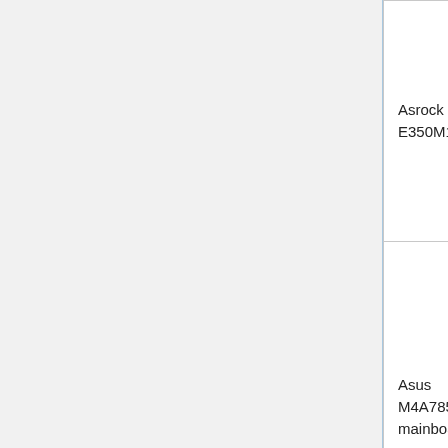| Device | Chips |
| --- | --- |
| Asrock E350M1 | A25L032 |
| Asus M4A785T-M mainboard | W25x80 (DIP8) |
| Lenovo Thinkpad T60 | MX25L1605D/MX25L16… |
| Lenovo Thinkpad X60 | SST25VF016B |
| Lenovo Thinkpad | MX25L1605D/MX25L1… |